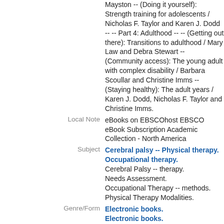Mayston -- (Doing it yourself): Strength training for adolescents / Nicholas F. Taylor and Karen J. Dodd -- -- Part 4: Adulthood -- -- (Getting out there): Transitions to adulthood / Mary Law and Debra Stewart -- (Community access): The young adult with complex disability / Barbara Scoullar and Christine Imms -- (Staying healthy): The adult years / Karen J. Dodd, Nicholas F. Taylor and Christine Imms.
Local Note: eBooks on EBSCOhost EBSCO eBook Subscription Academic Collection - North America
Subject: Cerebral palsy -- Physical therapy. Occupational therapy. Cerebral Palsy -- therapy. Needs Assessment. Occupational Therapy -- methods. Physical Therapy Modalities.
Genre/Form: Electronic books. Electronic books.
Added: Dodd, Karen (Karen Janine)